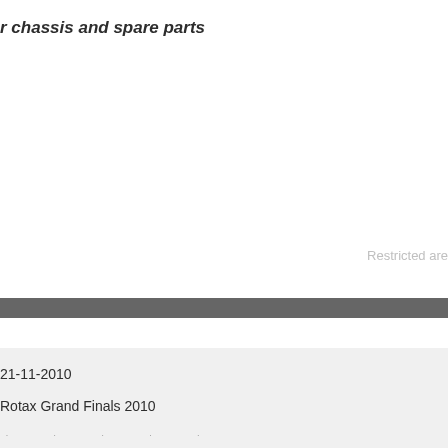r chassis and spare parts
Restricted are
21-11-2010
Rotax Grand Finals 2010